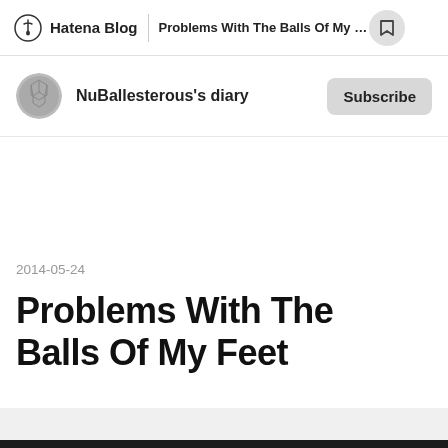Hatena Blog | Problems With The Balls Of My Feet
NuBallesterous's diary
Subscribe
2014-05-24
Problems With The Balls Of My Feet